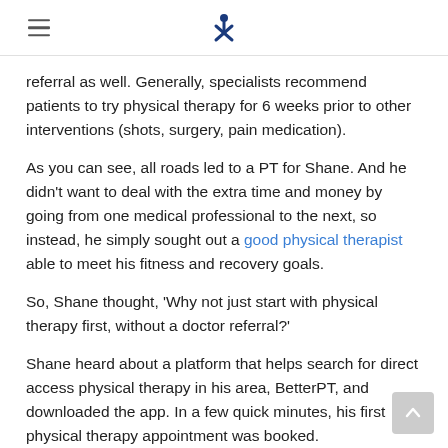BetterPT logo and hamburger menu
referral as well. Generally, specialists recommend patients to try physical therapy for 6 weeks prior to other interventions (shots, surgery, pain medication).
As you can see, all roads led to a PT for Shane. And he didn't want to deal with the extra time and money by going from one medical professional to the next, so instead, he simply sought out a good physical therapist able to meet his fitness and recovery goals.
So, Shane thought, 'Why not just start with physical therapy first, without a doctor referral?'
Shane heard about a platform that helps search for direct access physical therapy in his area, BetterPT, and downloaded the app. In a few quick minutes, his first physical therapy appointment was booked.